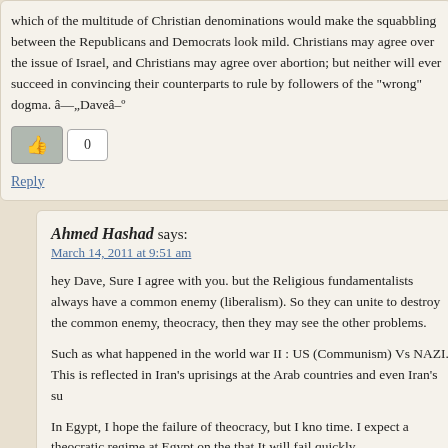which of the multitude of Christian denominations would make the squabbling between the Republicans and Democrats look mild. Christians may agree over the issue of Israel, and Christians may agree over abortion; but neither will ever succeed in convincing their counterparts to rule by followers of the "wrong" dogma. â—„Daveâ–º
0
Reply
Ahmed Hashad says:
March 14, 2011 at 9:51 am
hey Dave, Sure I agree with you. but the Religious fundamentalists always have a common enemy (liberalism). So they can unite to destroy the common enemy, theocracy, then they may see the other problems.
Such as what happened in the world war II : US (Communism) Vs NAZI. This is reflected in Iran's uprisings at the Arab countries and even Iran's su
In Egypt, I hope the failure of theocracy, but I know it will take time. I expect a theocratic regime at Egypt on the short run, but that It will fail quickly.
thanks